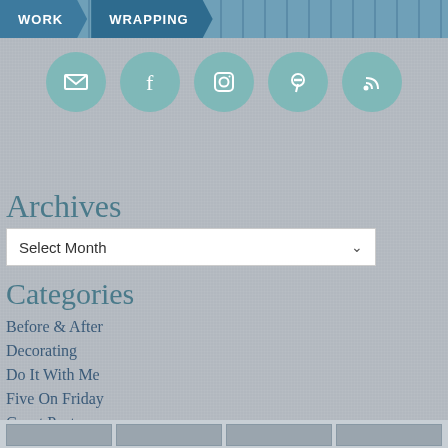WORK | WRAPPING
[Figure (infographic): Row of 5 circular social media icons (email, Facebook, Instagram, Pinterest, RSS feed) in teal/muted green color]
Archives
Select Month
Categories
Before & After
Decorating
Do It With Me
Five On Friday
Guest Posts
I Must Confess
Just Julie
Lifestyle
Neat & Pretty
Organizing Ideas
Recent Pins: